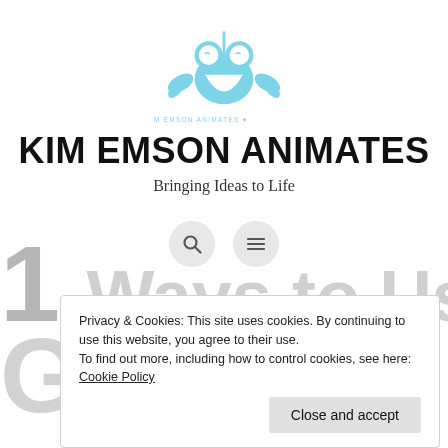[Figure (logo): Kim Emson Animates logo — two cartoon penguin-like characters with wings/leaves and a bowl shape, drawn in light blue. Text below reads '♥ KIM EMSON ANIMATES ♥' in small caps.]
KIM EMSON ANIMATES
Bringing Ideas to Life
[Figure (other): Two circular icon buttons: a magnifying glass (search) icon and a hamburger menu icon, both on light grey circular backgrounds.]
1 Ways to Use
GIFs
Privacy & Cookies: This site uses cookies. By continuing to use this website, you agree to their use.
To find out more, including how to control cookies, see here: Cookie Policy
Close and accept